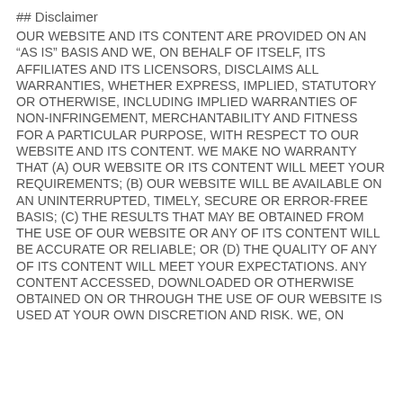## Disclaimer
OUR WEBSITE AND ITS CONTENT ARE PROVIDED ON AN “AS IS” BASIS AND WE, ON BEHALF OF ITSELF, ITS AFFILIATES AND ITS LICENSORS, DISCLAIMS ALL WARRANTIES, WHETHER EXPRESS, IMPLIED, STATUTORY OR OTHERWISE, INCLUDING IMPLIED WARRANTIES OF NON-INFRINGEMENT, MERCHANTABILITY AND FITNESS FOR A PARTICULAR PURPOSE, WITH RESPECT TO OUR WEBSITE AND ITS CONTENT. WE MAKE NO WARRANTY THAT (A) OUR WEBSITE OR ITS CONTENT WILL MEET YOUR REQUIREMENTS; (B) OUR WEBSITE WILL BE AVAILABLE ON AN UNINTERRUPTED, TIMELY, SECURE OR ERROR-FREE BASIS; (C) THE RESULTS THAT MAY BE OBTAINED FROM THE USE OF OUR WEBSITE OR ANY OF ITS CONTENT WILL BE ACCURATE OR RELIABLE; OR (D) THE QUALITY OF ANY OF ITS CONTENT WILL MEET YOUR EXPECTATIONS. ANY CONTENT ACCESSED, DOWNLOADED OR OTHERWISE OBTAINED ON OR THROUGH THE USE OF OUR WEBSITE IS USED AT YOUR OWN DISCRETION AND RISK. WE, ON